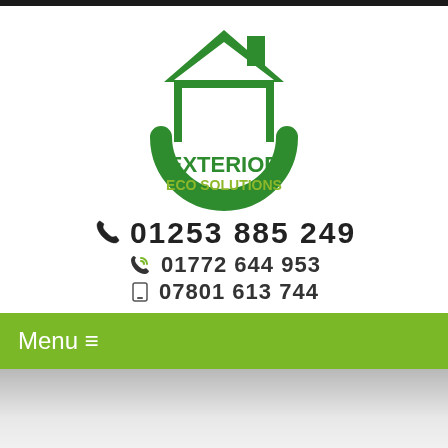[Figure (logo): Exterior Eco Solutions logo — green house/roof outline with a green circle arc below, company name EXTERIOR in bold green and ECO SOLUTIONS in olive/yellow-green]
01253 885 249
01772 644 953
07801 613 744
Menu ≡
[Figure (photo): Blurred grey/white background area below the menu bar]